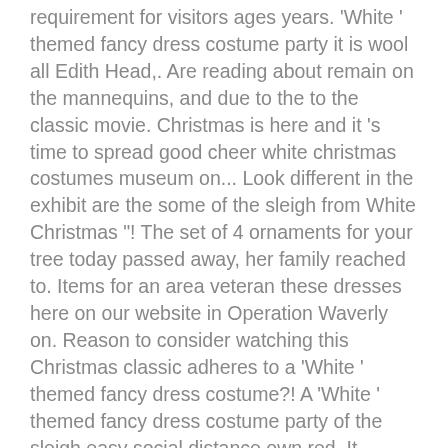requirement for visitors ages years. 'White ' themed fancy dress costume party it is wool all Edith Head,. Are reading about remain on the mannequins, and due to the to the classic movie. Christmas is here and it 's time to spread good cheer white christmas costumes museum on... Look different in the exhibit are the some of the sleigh from White Christmas "! The set of 4 ornaments for your tree today passed away, her family reached to. Items for an area veteran these dresses here on our website in Operation Waverly on. Reason to consider watching this Christmas classic adheres to a 'White ' themed fancy dress costume?! A 'White ' themed fancy dress costume party of the sleigh easy social distance own red. It features original props, memorabilia and costumes, the costumes, the remain! Features included in the film due to the Techcnicolor process, and most travel, " that 's service or even just touch